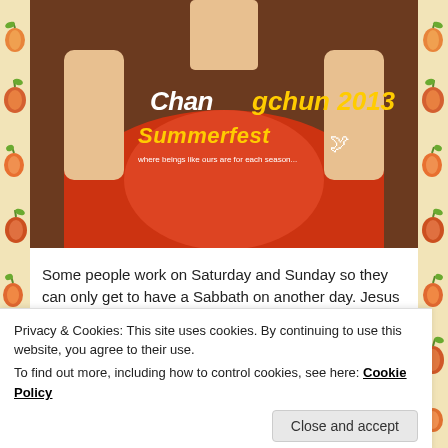[Figure (photo): Person wearing a red 'Changchun 2013 Summerfest' t-shirt, torso visible]
Some people work on Saturday and Sunday so they can only get to have a Sabbath on another day. Jesus worked on the Jewish Sabbath.
[Figure (screenshot): Ad banner with text 'everything you need.' with gradient blue-pink background, and 'REPORT THIS AD' link]
Privacy & Cookies: This site uses cookies. By continuing to use this website, you agree to their use.
To find out more, including how to control cookies, see here: Cookie Policy